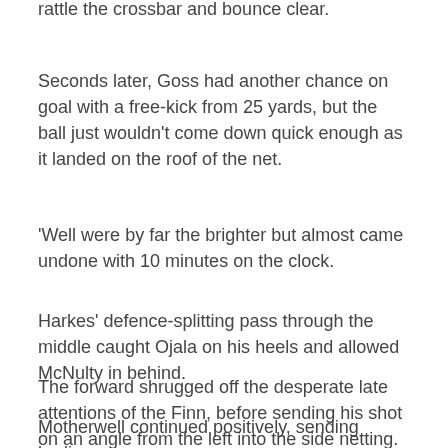rattle the crossbar and bounce clear.
Seconds later, Goss had another chance on goal with a free-kick from 25 yards, but the ball just wouldn't come down quick enough as it landed on the roof of the net.
'Well were by far the brighter but almost came undone with 10 minutes on the clock.
Harkes' defence-splitting pass through the middle caught Ojala on his heels and allowed McNulty in behind.
The forward shrugged off the desperate late attentions of the Finn, before sending his shot on an angle from the left into the side netting.
Motherwell continued positively, sending bodies